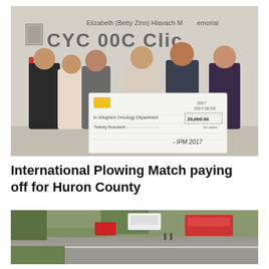[Figure (photo): Group of six people standing indoors holding a large ceremonial cheque. The cheque is made out to 'Wingham Oncology Department' for 'Twenty thousand — 20,000.00 dollars', dated 2017-02-04, signed by IPM 2017. A sign on the wall reads 'Elizabeth (Betty Zinn) Hlavach Memorial' above partially visible text. The people are dressed in business casual attire.]
International Plowing Match paying off for Huron County
[Figure (photo): Aerial photograph of a rural road or highway with several vehicles including a large red truck and what appears to be emergency vehicles, surrounded by green fields and trees.]